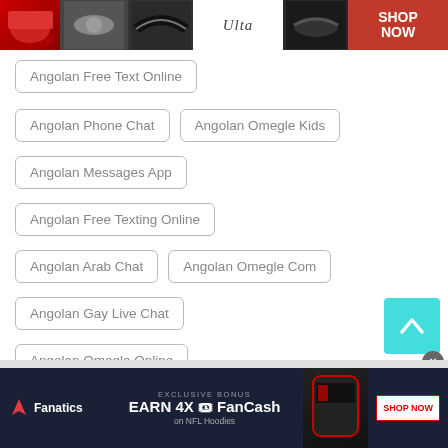[Figure (screenshot): Ulta Beauty advertisement banner at top of page with makeup/cosmetics imagery]
Angolan Free Text Online
Angolan Phone Chat
Angolan Omegle Kids
Angolan Messages App
Angolan Free Texting Online
Angolan Arab Chat
Angolan Omegle Com
Angolan Gay Live Chat
Angolan Omegle Online
Angolan Conference Call
[Figure (screenshot): Fanatics advertisement banner - Earn 4X FanCash on NFL Hoodies promotional banner]